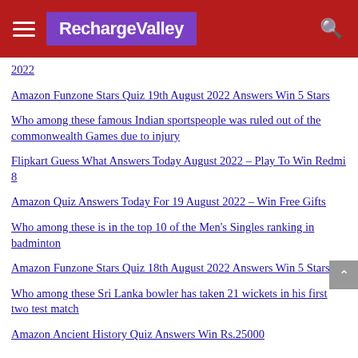RechargeValley
2022
Amazon Funzone Stars Quiz 19th August 2022 Answers Win 5 Stars
Who among these famous Indian sportspeople was ruled out of the commonwealth Games due to injury
Flipkart Guess What Answers Today August 2022 – Play To Win Redmi 8
Amazon Quiz Answers Today For 19 August 2022 – Win Free Gifts
Who among these is in the top 10 of the Men's Singles ranking in badminton
Amazon Funzone Stars Quiz 18th August 2022 Answers Win 5 Stars
Who among these Sri Lanka bowler has taken 21 wickets in his first two test match
Amazon Ancient History Quiz Answers Win Rs.25000